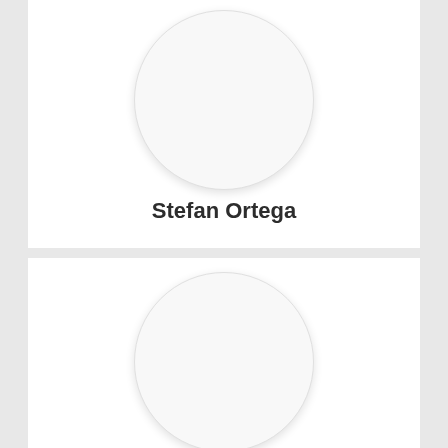[Figure (illustration): Circular avatar placeholder image, white fill with light grey border and subtle shadow, top card]
Stefan Ortega
[Figure (illustration): Circular avatar placeholder image, white fill with light grey border and subtle shadow, bottom card]